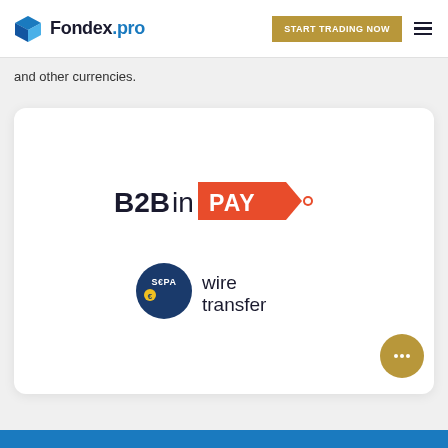Fondex.pro | START TRADING NOW
and other currencies.
[Figure (logo): B2BinPAY logo — bold black text 'B2B' followed by 'in' and an orange arrow-shaped badge with white text 'PAY' and a dot]
[Figure (logo): SEPA wire transfer logo — dark blue circle with SEPA text and euro symbol, followed by 'wire transfer' in dark text]